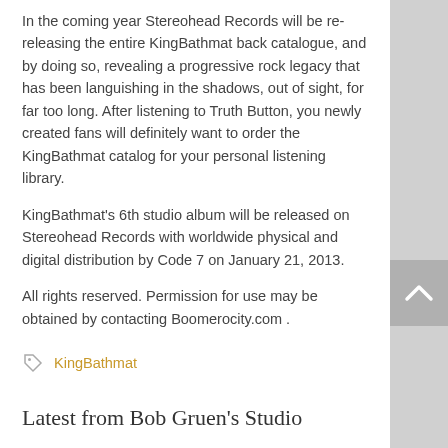In the coming year Stereohead Records will be re-releasing the entire KingBathmat back catalogue, and by doing so, revealing a progressive rock legacy that has been languishing in the shadows, out of sight, for far too long. After listening to Truth Button, you newly created fans will definitely want to order the KingBathmat catalog for your personal listening library.
KingBathmat's 6th studio album will be released on Stereohead Records with worldwide physical and digital distribution by Code 7 on January 21, 2013.
All rights reserved. Permission for use may be obtained by contacting Boomerocity.com .
KingBathmat
Latest from Bob Gruen's Studio